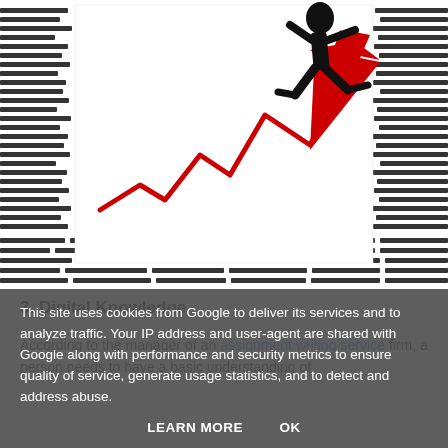[Figure (illustration): Illustration showing a person running on a brick/newspaper background with a red zigzag upward-trending chart arrow behind them, set against a white card in the center]
3. Digital Knowledge
According to the manager of an assignment writing service firm, a person needs to have a basic understanding of
This site uses cookies from Google to deliver its services and to analyze traffic. Your IP address and user-agent are shared with Google along with performance and security metrics to ensure quality of service, generate usage statistics, and to detect and address abuse.
LEARN MORE    OK